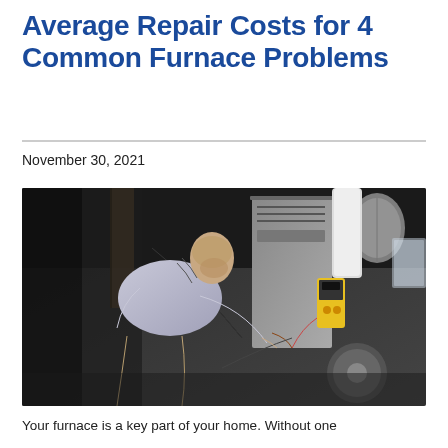Average Repair Costs for 4 Common Furnace Problems
November 30, 2021
[Figure (photo): A technician/HVAC repairman crouching and working on furnace components in a basement or utility room, with pipes, ducts, wiring, and a yellow multimeter visible.]
Your furnace is a key part of your home. Without one